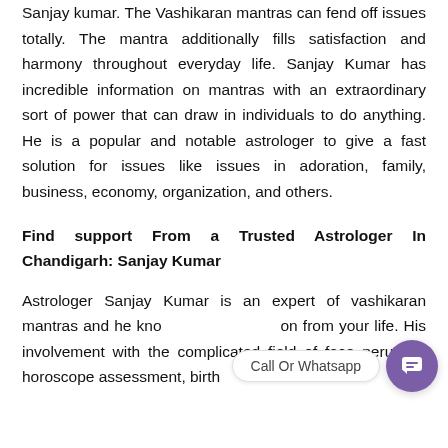Sanjay kumar. The Vashikaran mantras can fend off issues totally. The mantra additionally fills satisfaction and harmony throughout everyday life. Sanjay Kumar has incredible information on mantras with an extraordinary sort of power that can draw in individuals to do anything. He is a popular and notable astrologer to give a fast solution for issues like issues in adoration, family, business, economy, organization, and others.
Find support From a Trusted Astrologer In Chandigarh: Sanjay Kumar
Astrologer Sanjay Kumar is an expert of vashikaran mantras and he know 99 on from your life. His involvement with the complicated field of face perusing, horoscope assessment, birth